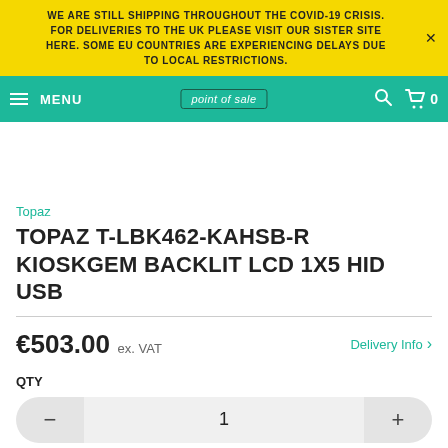WE ARE STILL SHIPPING THROUGHOUT THE COVID-19 CRISIS. FOR DELIVERIES TO THE UK PLEASE VISIT OUR SISTER SITE HERE. SOME EU COUNTRIES ARE EXPERIENCING DELAYS DUE TO LOCAL RESTRICTIONS.
[Figure (screenshot): Navigation bar with hamburger menu, MENU label, 'point of sale' logo in bordered box, search icon, and cart icon with 0]
[Figure (photo): Product image placeholder area (white/empty)]
Topaz
TOPAZ T-LBK462-KAHSB-R KIOSKGEM BACKLIT LCD 1X5 HID USB
€503.00 ex. VAT
Delivery Info >
QTY
1
ADD TO CART